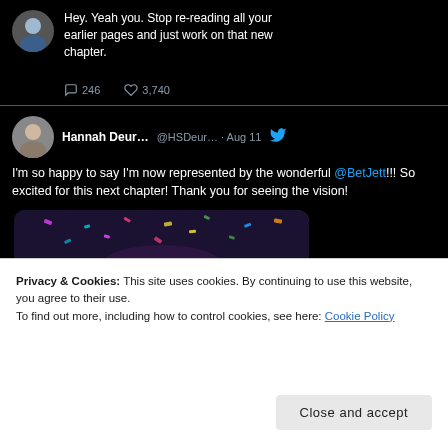[Figure (screenshot): Top partial tweet on dark background: avatar of person in blue jacket, tweet text 'Hey. Yeah you. Stop re-reading all your earlier pages and just work on that new chapter.' with 246 comments and 3,740 likes.]
[Figure (screenshot): Tweet by Hannah Deur... @HSDeur... · Aug 11 with Twitter bird icon. Text: 'I'm so happy to say I'm now represented by the wonderful @BetJett!!! So excited for this next chapter! Thank you for seeing the vision!' with a celebration/confetti image below.]
Privacy & Cookies: This site uses cookies. By continuing to use this website, you agree to their use.
To find out more, including how to control cookies, see here: Cookie Policy
Close and accept